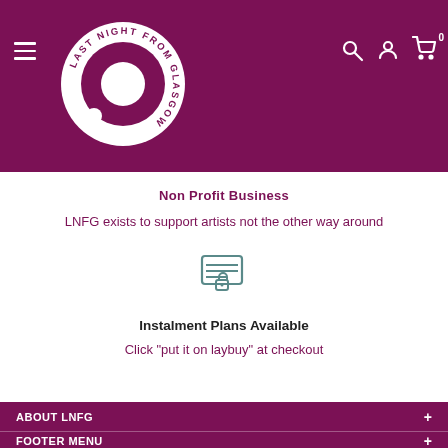[Figure (logo): Last Night From Glasgow circular logo - white circle on dark purple background with circular text reading LAST NIGHT FROM GLASGOW around the ring]
Non Profit Business
LNFG exists to support artists not the other way around
[Figure (illustration): Icon of a payment card with horizontal lines and a padlock symbol below, in teal/green outline style]
Instalment Plans Available
Click "put it on laybuy" at checkout
ABOUT LNFG +
FOOTER MENU +